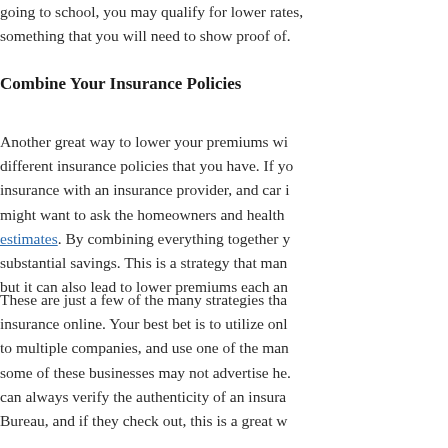going to school, you may qualify for lower rates, something that you will need to show proof of.
Combine Your Insurance Policies
Another great way to lower your premiums with different insurance policies that you have. If you insurance with an insurance provider, and car i might want to ask the homeowners and health estimates. By combining everything together y substantial savings. This is a strategy that man but it can also lead to lower premiums each an
These are just a few of the many strategies tha insurance online. Your best bet is to utilize onl to multiple companies, and use one of the man some of these businesses may not advertise he. can always verify the authenticity of an insura Bureau, and if they check out, this is a great w